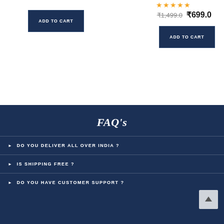[Figure (other): ADD TO CART button on left side, dark navy blue rectangle]
[Figure (other): Star rating (5 stars in orange/gold) on right side]
₹1,499.0 ₹699.0
[Figure (other): ADD TO CART button on right side, dark navy blue rectangle]
FAQ's
DO YOU DELIVER ALL OVER INDIA ?
IS SHIPPING FREE ?
DO YOU HAVE CUSTOMER SUPPORT ?